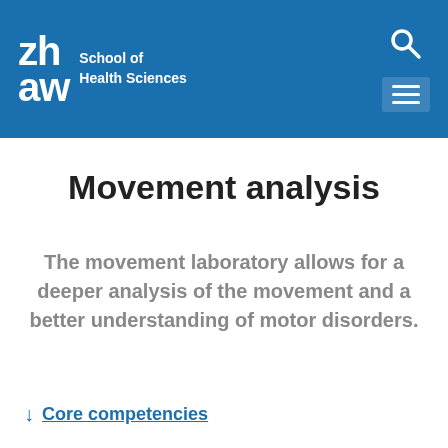ZHAW School of Health Sciences
Movement analysis
The movement laboratory allows for a deeper analysis of the movement and a better understanding of motor disorders.
↓ Core competencies